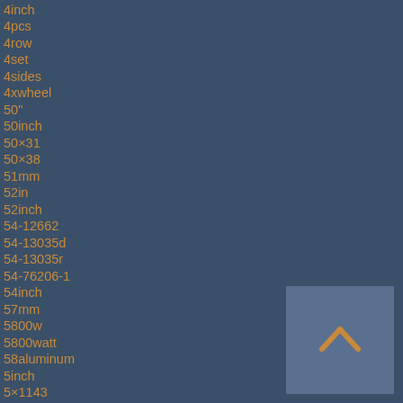4inch
4pcs
4row
4set
4sides
4xwheel
50"
50inch
50×31
50×38
51mm
52in
52inch
54-12662
54-13035d
54-13035r
54-76206-1
54inch
57mm
5800w
5800watt
58aluminum
5inch
5×1143
5×127
5×45
5×55×127
[Figure (other): Scroll-to-top button with upward chevron arrow icon in orange on grey background]